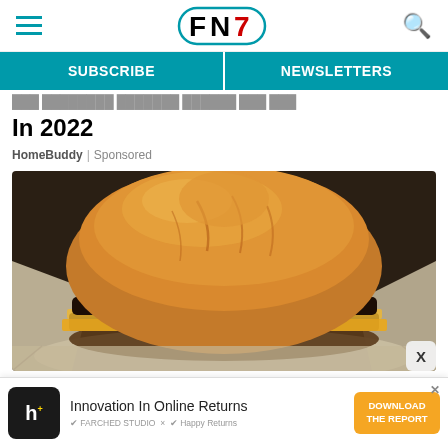FN7 (Food Network / FN7 logo) with hamburger menu and search icon
SUBSCRIBE | NEWSLETTERS
In 2022
HomeBuddy | Sponsored
[Figure (photo): Close-up photo of a double cheeseburger with melted American cheese on a sesame-free bun, resting on crinkled white parchment paper]
Innovation In Online Returns DOWNLOAD THE REPORT